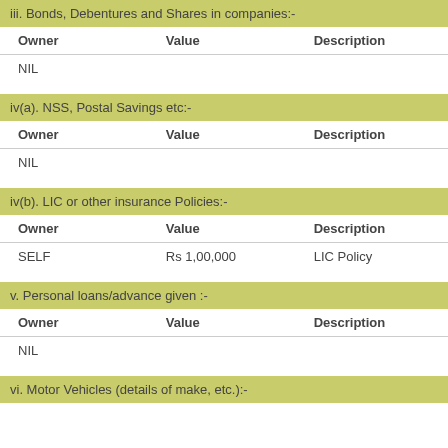| iii. Bonds, Debentures and Shares in companies:- |  |  |
| --- | --- | --- |
| Owner | Value | Description |
| NIL |  |  |
| iv(a). NSS, Postal Savings etc:- |  |  |
| --- | --- | --- |
| Owner | Value | Description |
| NIL |  |  |
| iv(b). LIC or other insurance Policies:- |  |  |
| --- | --- | --- |
| Owner | Value | Description |
| SELF | Rs 1,00,000 | LIC Policy |
| v. Personal loans/advance given :- |  |  |
| --- | --- | --- |
| Owner | Value | Description |
| NIL |  |  |
vi. Motor Vehicles (details of make, etc.):-